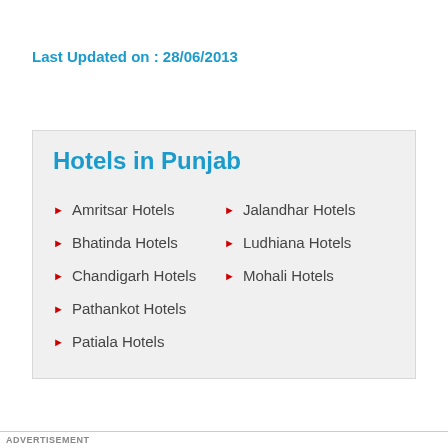Last Updated on : 28/06/2013
Hotels in Punjab
Amritsar Hotels
Jalandhar Hotels
Bhatinda Hotels
Ludhiana Hotels
Chandigarh Hotels
Mohali Hotels
Pathankot Hotels
Patiala Hotels
ADVERTISEMENT